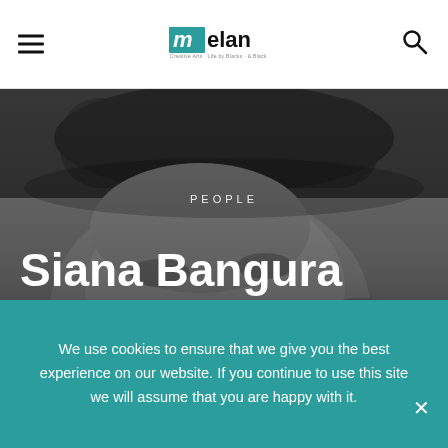melan [logo] [hamburger menu] [search icon]
[Figure (photo): Close-up black and white photograph of a Black person's face, showing braided hair and facial features in detail. The photo serves as a hero image background for an article about Siana Bangura.]
PEOPLE
Siana Bangura addresses the elephant in the
We use cookies to ensure that we give you the best experience on our website. If you continue to use this site we will assume that you are happy with it.